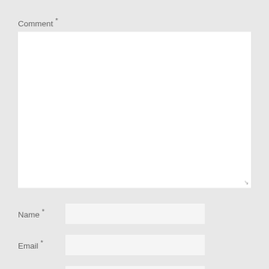Comment *
[Figure (other): Large empty white textarea for comment input with a resize handle in the bottom-right corner]
Name *
[Figure (other): White text input field for name]
Email *
[Figure (other): White text input field for email]
Website